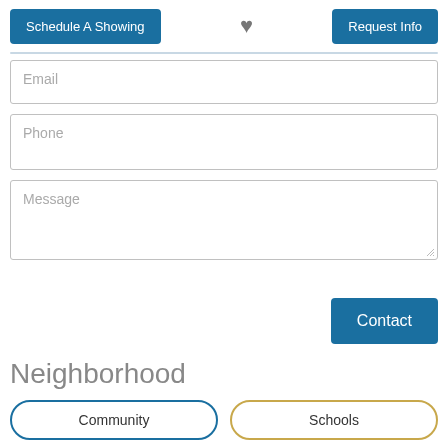Schedule A Showing
[Figure (illustration): Heart icon (favorite/save) in gray]
Request Info
Email
Phone
Message
Contact
Neighborhood
Community
Schools